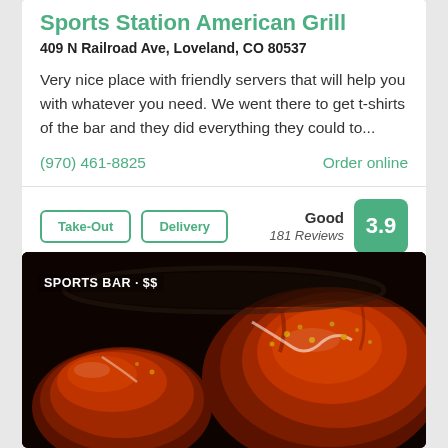Sports Station American Grill
409 N Railroad Ave, Loveland, CO 80537
Very nice place with friendly servers that will help you with whatever you need. We went there to get t-shirts of the bar and they did everything they could to...
(970) 461-8825
Order online
Take-Out
Delivery
Good
181 Reviews
3.9
[Figure (photo): Close-up photo of glazed chicken wings or meatballs with sauce and nuts on a dark background, with 'SPORTS BAR · $$' label overlay]